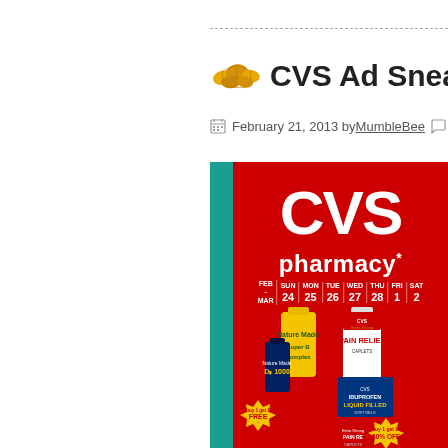CVS Ad Sneak Pe…
February 21, 2013 by MumbleBee  Leav…
[Figure (photo): CVS Pharmacy weekly ad sneak peek showing CVS logo, pharmacy text, date calendar Feb-Mar 24-SAT 2, and product bottles including Nature Made Super B Complex, Nature Made D3 1000, CVS Extra Strength Pain Relief, CVS Ibuprofen Liquid Filled softgels with buy 1 get 1 free and 50% off promotions. Partial view of teal panel on right edge.]